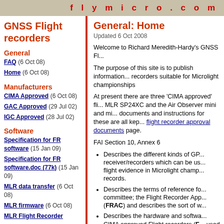flymicro.com
GNSS Flight recorders
General
FAQ (6 Oct 08)
Home (6 Oct 08)
Manufacturers
CIMA Approved (6 Oct 08)
GAC Approved (29 Jul 02)
IGC Approved (28 Jul 02)
Software
Specification for FR software (15 Jan 09)
Specification for FR software.doc (77k) (15 Jan 09)
MLR data transfer (6 Oct 08)
MLR firmware (6 Oct 08)
MLR Flight Recorder
General: Home
Updated 6 Oct 2008
Welcome to Richard Meredith-Hardy's GNSS Fl...
The purpose of this site is to publish information... recorders suitable for Microlight championships
At present there are three 'CIMA approved' flight recorders: the MLR SP24XC and the Air Observer mini and mi... documents and instructions for these are all kept on the flight recorder approval documents page.
FAI Section 10, Annex 6
Describes the different kinds of GP... receiver/recorders which can be used for flight evidence in Microlight champ... records.
Describes the terms of reference for the committee; the Flight Recorder App... (FRAC) and describes the sort of w...
Describes the hardware and software requirements for CIMA approved Flight recorders (FR...) used in some records and are the e... may be used in championships.
FRAC is now actively engaged in the approval of...